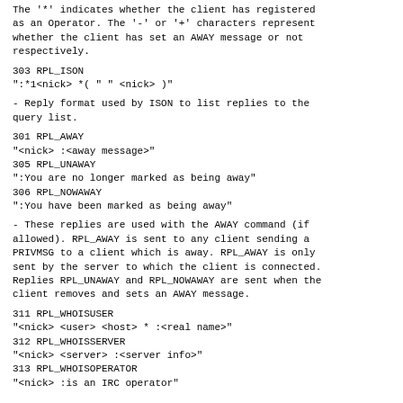The '*' indicates whether the client has registered as an Operator. The '-' or '+' characters represent whether the client has set an AWAY message or not respectively.
303 RPL_ISON
":*1<nick> *( " " <nick> )"
- Reply format used by ISON to list replies to the query list.
301 RPL_AWAY
"<nick> :<away message>"
305 RPL_UNAWAY
":You are no longer marked as being away"
306 RPL_NOWAWAY
":You have been marked as being away"
- These replies are used with the AWAY command (if allowed). RPL_AWAY is sent to any client sending a PRIVMSG to a client which is away. RPL_AWAY is only sent by the server to which the client is connected. Replies RPL_UNAWAY and RPL_NOWAWAY are sent when the client removes and sets an AWAY message.
311 RPL_WHOISUSER
"<nick> <user> <host> * :<real name>"
312 RPL_WHOISSERVER
"<nick> <server> :<server info>"
313 RPL_WHOISOPERATOR
"<nick> :is an IRC operator"